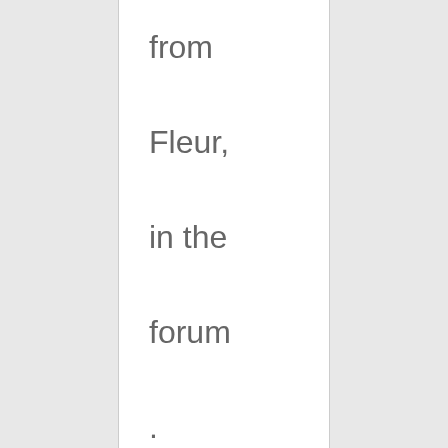from Fleur, in the forum . Fleur found some other thing on the Intern